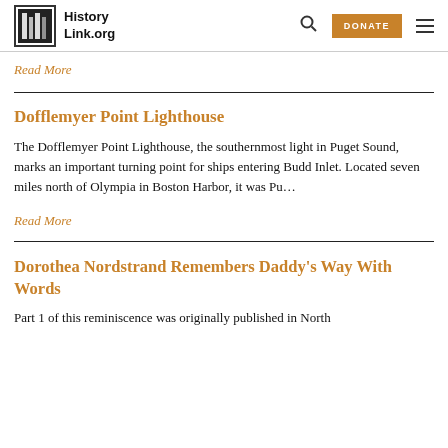HistoryLink.org
Read More
Dofflemyer Point Lighthouse
The Dofflemyer Point Lighthouse, the southernmost light in Puget Sound, marks an important turning point for ships entering Budd Inlet. Located seven miles north of Olympia in Boston Harbor, it was Pu...
Read More
Dorothea Nordstrand Remembers Daddy's Way With Words
Part 1 of this reminiscence was originally published in North